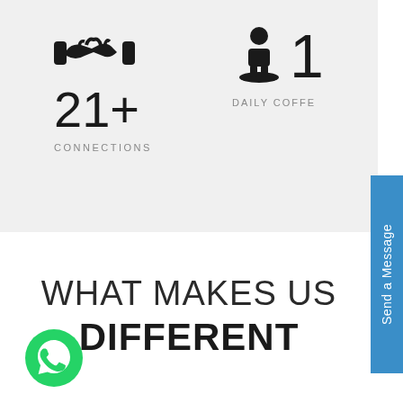[Figure (infographic): Handshake icon representing connections]
21+
CONNECTIONS
[Figure (infographic): Person/user icon representing daily coffee]
1
DAILY COFFE
Send a Message
[Figure (logo): WhatsApp green circular icon]
WHAT MAKES US DIFFERENT